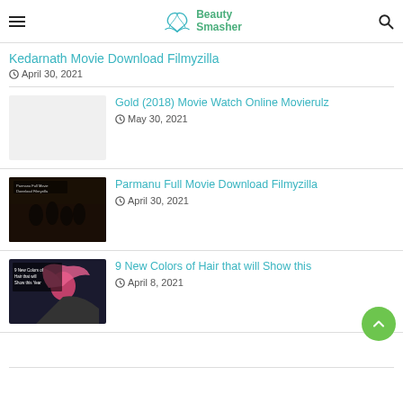Beauty Smasher
Kedarnath Movie Download Filmyzilla
April 30, 2021
[Figure (photo): Blank/placeholder thumbnail for Gold (2018) article]
Gold (2018) Movie Watch Online Movierulz
May 30, 2021
[Figure (photo): Thumbnail image for Parmanu Full Movie article showing soldiers with text overlay]
Parmanu Full Movie Download Filmyzilla
April 30, 2021
[Figure (photo): Thumbnail for 9 New Colors of Hair article showing woman with pink hair]
9 New Colors of Hair that will Show this
April 8, 2021